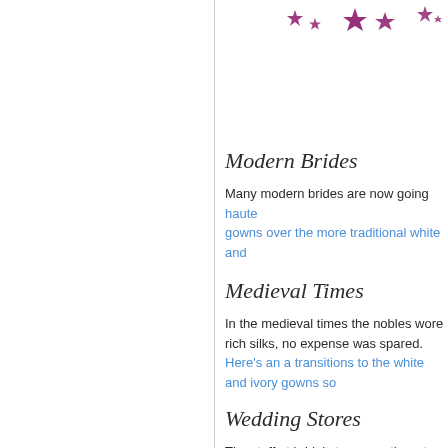[Figure (illustration): Row of purple/magenta star decorations of varying sizes arranged in a curved arc pattern in the upper right area of the page]
Modern Brides
Many modern brides are now going haute gowns over the more traditional white and
Medieval Times
In the medieval times the nobles wore rich silks, no expense was spared. Here's an a transitions to the white and ivory gowns so
Wedding Stores
The staff at bridal stores are there to help charge. When you find that perfect weddi